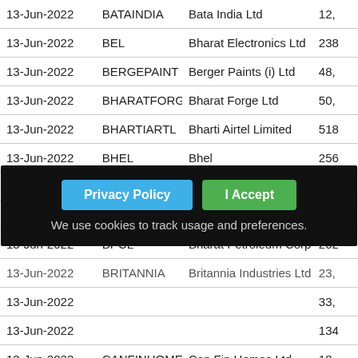| Date | Symbol | Name | Value |
| --- | --- | --- | --- |
| 13-Jun-2022 | BATAINDIA | Bata India Ltd | 12, |
| 13-Jun-2022 | BEL | Bharat Electronics Ltd | 238 |
| 13-Jun-2022 | BERGEPAINT | Berger Paints (i) Ltd | 48, |
| 13-Jun-2022 | BHARATFORG | Bharat Forge Ltd | 50, |
| 13-Jun-2022 | BHARTIARTL | Bharti Airtel Limited | 518 |
| 13-Jun-2022 | BHEL | Bhel | 256 |
| 13-Jun-2022 | BIOCON | Biocon Limited. | 93, |
| 13-Jun-2022 | BOSCHLTD | Bosch Limited | 1,7 |
| 13-Jun-2022 | BPCL | Bharat Petroleum Corp Lt | 202 |
| 13-Jun-2022 | BRITANNIA | Britannia Industries Ltd | 23, |
| 13-Jun-2022 | ... | ... | 33, |
| 13-Jun-2022 | ... | ... | 134 |
| 13-Jun-2022 | CANFINHOME | Can Fin Homes Ltd | 18, |
| 13-Jun-2022 | CHAMBLFERT | Chambal Fertilizers Ltd | 32, |
| 13-Jun-2022 | CHOLAFIN | Cholamandalam In & Fin Co | 79, |
| 13-Jun-2022 | CIPLA | Cipla Ltd | 106 |
| 13-Jun-2022 | COALINDIA | Coal India Ltd | 41, |
[Figure (other): Privacy policy cookie consent popup overlay with 'Privacy Policy' and 'I Accept' buttons and text 'We use cookies to track usage and preferences.']